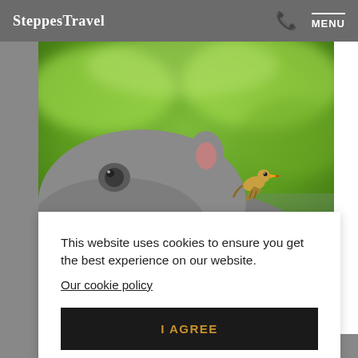SteppesTravel | MENU
[Figure (photo): Close-up photograph of a hippopotamus head with a yellow-billed oxpecker bird perched on its back, green blurred background.]
This website uses cookies to ensure you get the best experience on our website.
Our cookie policy
I AGREE